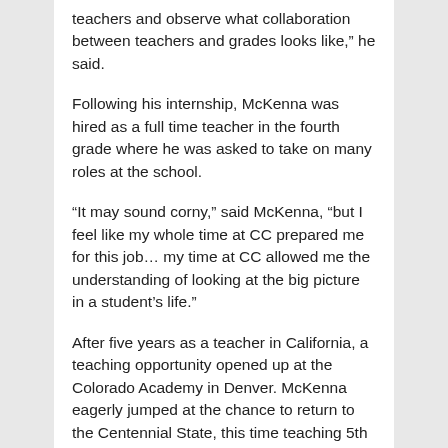teachers and observe what collaboration between teachers and grades looks like,” he said.
Following his internship, McKenna was hired as a full time teacher in the fourth grade where he was asked to take on many roles at the school.
“It may sound corny,” said McKenna, “but I feel like my whole time at CC prepared me for this job… my time at CC allowed me the understanding of looking at the big picture in a student’s life.”
After five years as a teacher in California, a teaching opportunity opened up at the Colorado Academy in Denver. McKenna eagerly jumped at the chance to return to the Centennial State, this time teaching 5th grade.
“I could not be happier. I have had the chance to teach an incredible group of students and work with amazing teachers and parents… Getting to know students in my class has allowed me the opportunity to involve their